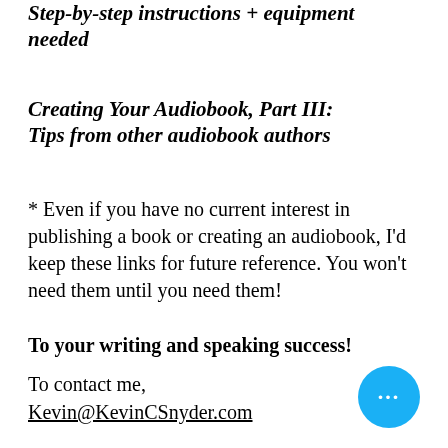Step-by-step instructions + equipment needed
Creating Your Audiobook, Part III: Tips from other audiobook authors
* Even if you have no current interest in publishing a book or creating an audiobook, I'd keep these links for future reference. You won't need them until you need them!
To your writing and speaking success!
To contact me,
Kevin@KevinCSnyder.com